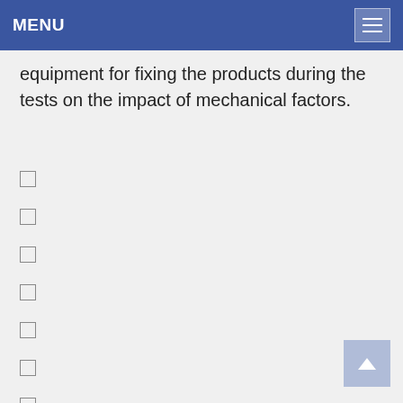MENU
equipment for fixing the products during the tests on the impact of mechanical factors.